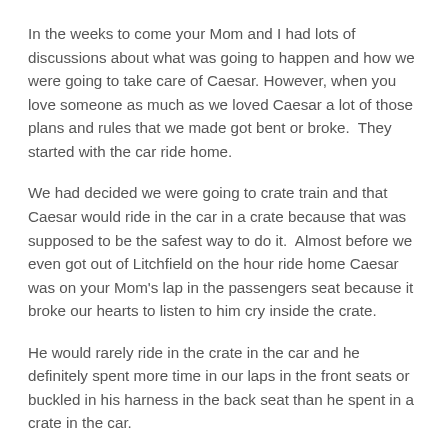In the weeks to come your Mom and I had lots of discussions about what was going to happen and how we were going to take care of Caesar. However, when you love someone as much as we loved Caesar a lot of those plans and rules that we made got bent or broke.  They started with the car ride home.
We had decided we were going to crate train and that Caesar would ride in the car in a crate because that was supposed to be the safest way to do it.  Almost before we even got out of Litchfield on the hour ride home Caesar was on your Mom's lap in the passengers seat because it broke our hearts to listen to him cry inside the crate.
He would rarely ride in the crate in the car and he definitely spent more time in our laps in the front seats or buckled in his harness in the back seat than he spent in a crate in the car.